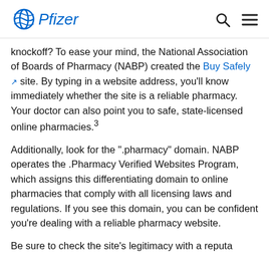Pfizer
knockoff? To ease your mind, the National Association of Boards of Pharmacy (NABP) created the Buy Safely site. By typing in a website address, you'll know immediately whether the site is a reliable pharmacy. Your doctor can also point you to safe, state-licensed online pharmacies.³
Additionally, look for the ".pharmacy" domain. NABP operates the .Pharmacy Verified Websites Program, which assigns this differentiating domain to online pharmacies that comply with all licensing laws and regulations. If you see this domain, you can be confident you're dealing with a reliable pharmacy website.
Be sure to check the site's legitimacy with a reputable site...